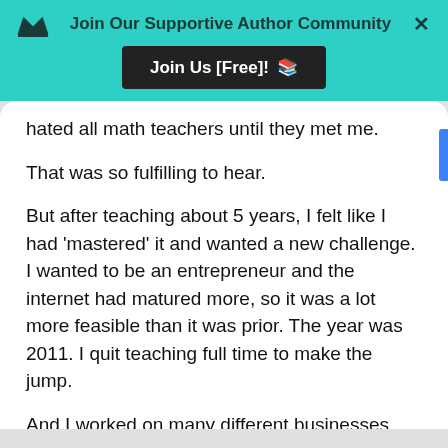Join Our Supportive Author Community
Join Us [Free]! 🗂
hated all math teachers until they met me.
That was so fulfilling to hear.
But after teaching about 5 years, I felt like I had 'mastered' it and wanted a new challenge. I wanted to be an entrepreneur and the internet had matured more, so it was a lot more feasible than it was prior. The year was 2011. I quit teaching full time to make the jump.
And I worked on many different businesses until I found some real footing in my current one....in the Copy That Pops world....where I